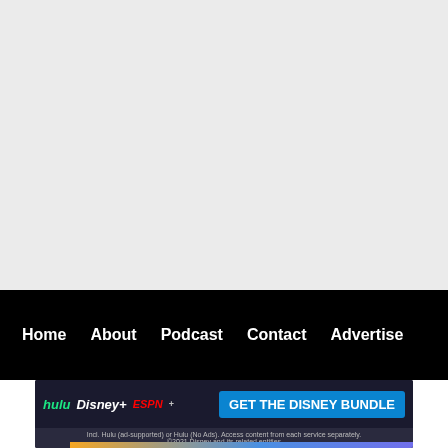[Figure (screenshot): Large gray/light background area representing a webpage content area or video player placeholder, upper portion of screenshot]
Home   About   Podcast   Contact   Advertise
[Figure (screenshot): Disney Bundle advertisement banner featuring Hulu, Disney+, and ESPN+ logos with a 'GET THE DISNEY BUNDLE' call-to-action button. Fine print reads: Incl. Hulu (ad-supported) or Hulu (No Ads). Access content from each service separately. ©2021 Disney and its related entities]